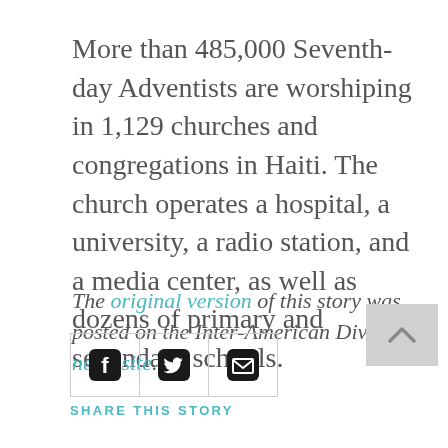More than 485,000 Seventh-day Adventists are worshiping in 1,129 churches and congregations in Haiti. The church operates a hospital, a university, a radio station, and a media center, as well as dozens of primary and secondary schools.
The original version of this story was posted on the Inter-American Division news site.
[Figure (other): Social sharing bar with Facebook, Twitter, and email icons, and a scroll-to-top button. Below the icons is the label SHARE THIS STORY.]